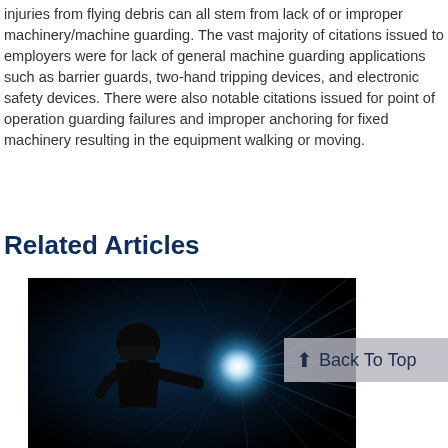injuries from flying debris can all stem from lack of or improper machinery/machine guarding. The vast majority of citations issued to employers were for lack of general machine guarding applications such as barrier guards, two-hand tripping devices, and electronic safety devices. There were also notable citations issued for point of operation guarding failures and improper anchoring for fixed machinery resulting in the equipment walking or moving.
Related Articles
[Figure (photo): Dark industrial photo showing a welder at work with bright blue-white light emanating from the welding point, with light streaks radiating outward on a black background.]